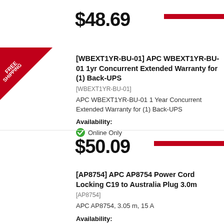$48.69
[Figure (illustration): Red corner banner with 'FREE SHIPPING' text diagonally]
[WBEXT1YR-BU-01] APC WBEXT1YR-BU-01 1yr Concurrent Extended Warranty for (1) Back-UPS
[WBEXT1YR-BU-01]
APC WBEXT1YR-BU-01 1 Year Concurrent Extended Warranty for (1) Back-UPS
Availability:
Online Only
$50.09
[AP8754] APC AP8754 Power Cord Locking C19 to Australia Plug 3.0m
[AP8754]
APC AP8754, 3.05 m, 15 A
Availability:
Online Only